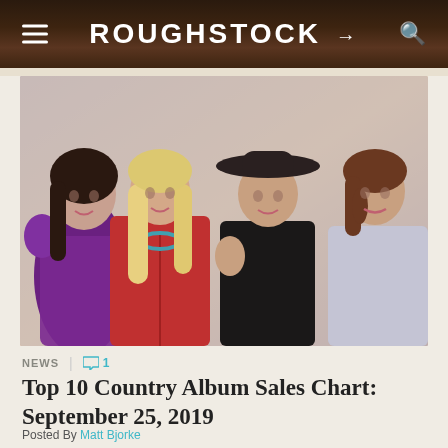ROUGHSTOCK
[Figure (photo): Four women posing together: leftmost in purple metallic top, second from left in red leather jacket with turquoise necklace and blonde hair, third wearing black jacket and wide-brim hat, rightmost in silver/grey sparkly turtleneck top]
NEWS | 1
Top 10 Country Album Sales Chart: September 25, 2019
Posted By Matt Bjorke
on Wednesday September 25, 2019 at 09:40AM PST